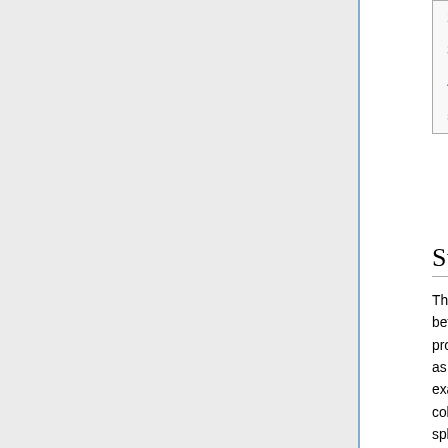2 Experiment
3 Results
4 Discussion
5 References
Summary
The study of small clusters can provide a linkage between local geometry and bulk behavior, and also provides insights into nonequilibrium phenomenon such as nucleation and the glass transition. This work examines small clusters (cluster size N ≤ 10) formed by colloidal particles that are essentially "sticky" hard spheres. Experimental measurements of the occurrence probabilities lead to the free energy landscape. For these sticky hard spheres, the lowest free energy states are clusters characterized by lack